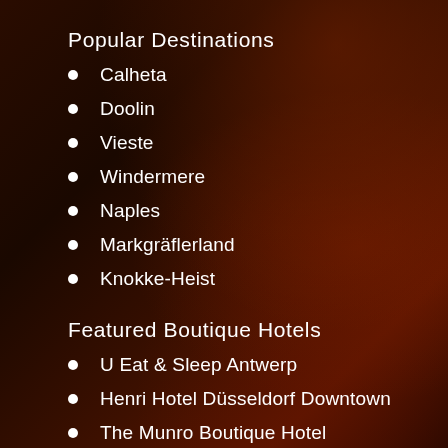[Figure (photo): Dark reddish-brown background with blurred photo images of people in dimly lit settings on the right side of the page]
Popular Destinations
Calheta
Doolin
Vieste
Windermere
Naples
Markgräflerland
Knokke-Heist
Featured Boutique Hotels
U Eat & Sleep Antwerp
Henri Hotel Düsseldorf Downtown
The Munro Boutique Hotel
Fierro Hotel Buenos Aires
Boutique hotel Maison Emile